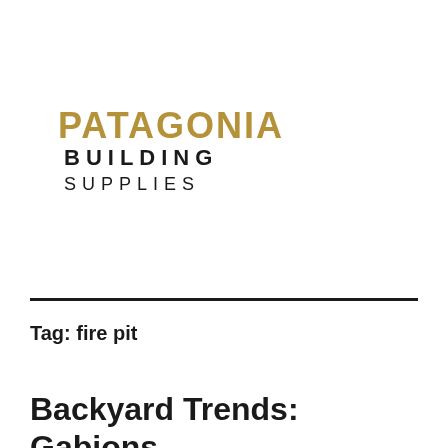[Figure (logo): Patagonia Building Supplies logo — 'PATAGONIA' in bold gold/tan uppercase letters, 'BUILDING SUPPLIES' below in dark bold spaced capitals]
Tag: fire pit
Backyard Trends: Gabions